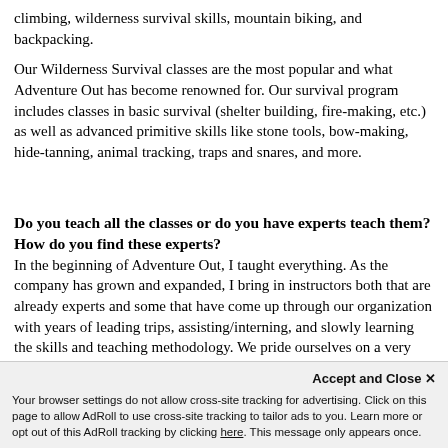climbing, wilderness survival skills, mountain biking, and backpacking.
Our Wilderness Survival classes are the most popular and what Adventure Out has become renowned for. Our survival program includes classes in basic survival (shelter building, fire-making, etc.) as well as advanced primitive skills like stone tools, bow-making, hide-tanning, animal tracking, traps and snares, and more.
Do you teach all the classes or do you have experts teach them? How do you find these experts?
In the beginning of Adventure Out, I taught everything. As the company has grown and expanded, I bring in instructors both that are already experts and some that have come up through our organization with years of leading trips, assisting/interning, and slowly learning the skills and teaching methodology. We pride ourselves on a very high level of both expertise and professionalism. We only hire people that are excellent teachers, not just experts at a certain activity.
What are “survival skills” and why would someone want to
always tell people that what
Your browser settings do not allow cross-site tracking for advertising. Click on this page to allow AdRoll to use cross-site tracking to tailor ads to you. Learn more or opt out of this AdRoll tracking by clicking here. This message only appears once.